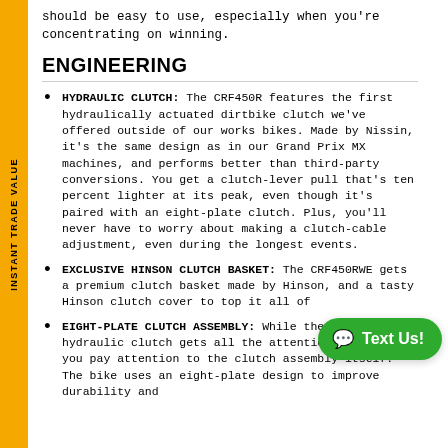should be easy to use, especially when you're concentrating on winning.
ENGINEERING
HYDRAULIC CLUTCH: The CRF450R features the first hydraulically actuated dirtbike clutch we've offered outside of our works bikes. Made by Nissin, it's the same design as in our Grand Prix MX machines, and performs better than third-party conversions. You get a clutch-lever pull that's ten percent lighter at its peak, even though it's paired with an eight-plate clutch. Plus, you'll never have to worry about making a clutch-cable adjustment, even during the longest events.
EXCLUSIVE HINSON CLUTCH BASKET: The CRF450RWE gets a premium clutch basket made by Hinson, and a tasty Hinson clutch cover to top it all of
EIGHT-PLATE CLUTCH ASSEMBLY: While the CRF450R's hydraulic clutch gets all the attention, make sure you pay attention to the clutch assembly itself. The bike uses an eight-plate design to improve durability and